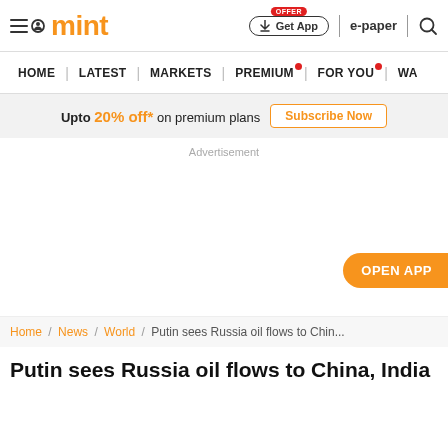mint | Get App | e-paper
HOME | LATEST | MARKETS | PREMIUM | FOR YOU | WA
Upto 20% off* on premium plans Subscribe Now
Advertisement
OPEN APP
Home / News / World / Putin sees Russia oil flows to Chin...
Putin sees Russia oil flows to China, India